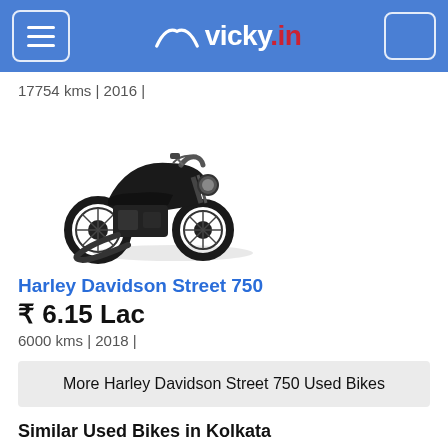vicky.in
17754 kms | 2016 |
[Figure (photo): Black Harley Davidson Street 750 motorcycle photographed from the left side against a white background]
Harley Davidson Street 750
₹ 6.15 Lac
6000 kms | 2018 |
More Harley Davidson Street 750 Used Bikes
Similar Used Bikes in Kolkata